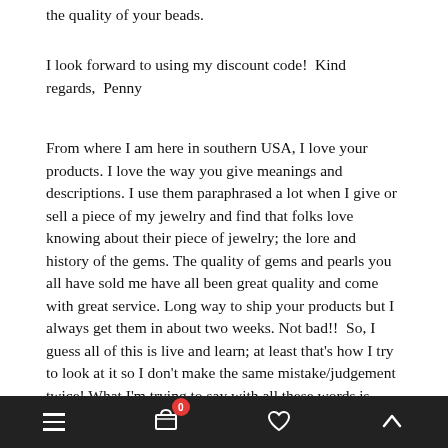the quality of your beads.
I look forward to using my discount code!  Kind regards,  Penny
From where I am here in southern USA, I love your products. I love the way you give meanings and descriptions. I use them paraphrased a lot when I give or sell a piece of my jewelry and find that folks love knowing about their piece of jewelry; the lore and history of the gems. The quality of gems and pearls you all have sold me have all been great quality and come with great service. Long way to ship your products but I always get them in about two weeks. Not bad!!  So, I guess all of this is live and learn; at least that's how I try to look at it so I don't make the same mistake/judgement twice! What I'm trying to say with all these words is thank you for providing this beader and jewelry maker with great quality and good service
≡  🛒 0  ♡  ▲